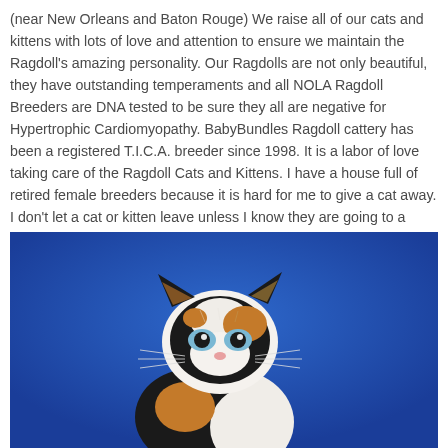(near New Orleans and Baton Rouge) We raise all of our cats and kittens with lots of love and attention to ensure we maintain the Ragdoll's amazing personality. Our Ragdolls are not only beautiful, they have outstanding temperaments and all NOLA Ragdoll Breeders are DNA tested to be sure they all are negative for Hypertrophic Cardiomyopathy. BabyBundles Ragdoll cattery has been a registered T.I.C.A. breeder since 1998. It is a labor of love taking care of the Ragdoll Cats and Kittens. I have a house full of retired female breeders because it is hard for me to give a cat away. I don't let a cat or kitten leave unless I know they are going to a good home.
[Figure (photo): A calico kitten with black, orange, and white fur sitting upright against a bright blue background, looking directly at the camera with blue eyes.]